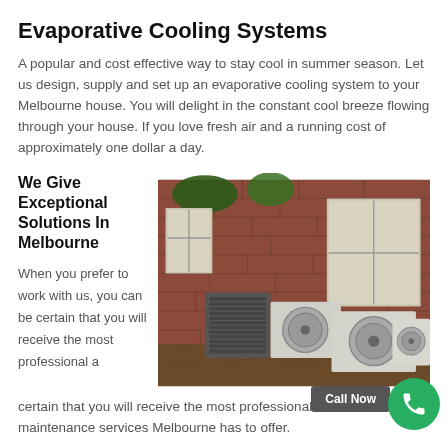Evaporative Cooling Systems
A popular and cost effective way to stay cool in summer season. Let us design, supply and set up an evaporative cooling system to your Melbourne house. You will delight in the constant cool breeze flowing through your house. If you love fresh air and a running cost of approximately one dollar a day.
We Give Exceptional Solutions In Melbourne
[Figure (photo): Outdoor HVAC/air conditioning units mounted beside a brick building with windows]
When you prefer to work with us, you can be certain that you will receive the most professional and efficient a/c maintenance services Melbourne has to offer.